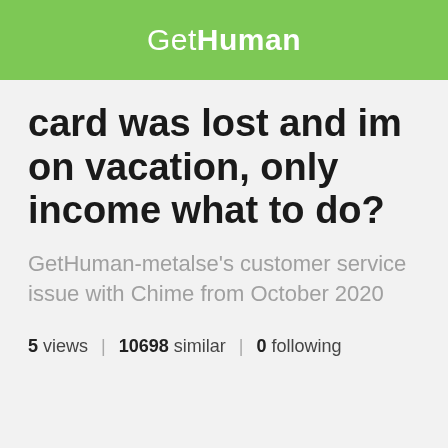GetHuman
card was lost and im on vacation, only income what to do?
GetHuman-metalse's customer service issue with Chime from October 2020
5 views | 10698 similar | 0 following